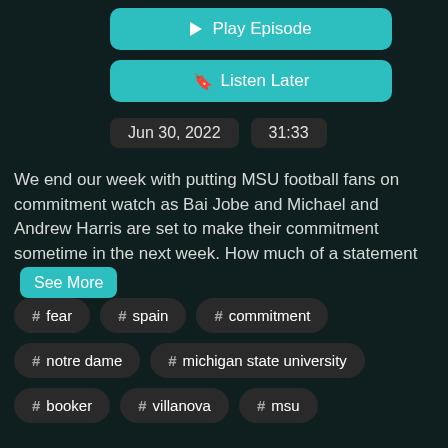▶ Play Episode
☐ Listen Later
Jun 30, 2022   31:33
We end our week with putting MSU football fans on commitment watch as Bai Jobe and Michael and Andrew Harris are set to make their commitment sometime in the next week. How much of a statement See More
# fear
# spain
# commitment
# notre dame
# michigan state university
# booker
# villanova
# msu